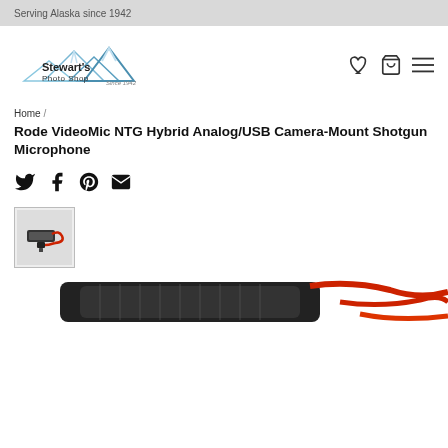Serving Alaska since 1942
[Figure (logo): Stewart's Photo Shop logo with mountain illustration]
Home /
Rode VideoMic NTG Hybrid Analog/USB Camera-Mount Shotgun Microphone
[Figure (illustration): Social share icons: Twitter, Facebook, Pinterest, Email]
[Figure (photo): Thumbnail image of Rode VideoMic NTG microphone with red cable]
[Figure (photo): Partial product photo of Rode VideoMic NTG microphone, bottom of page]